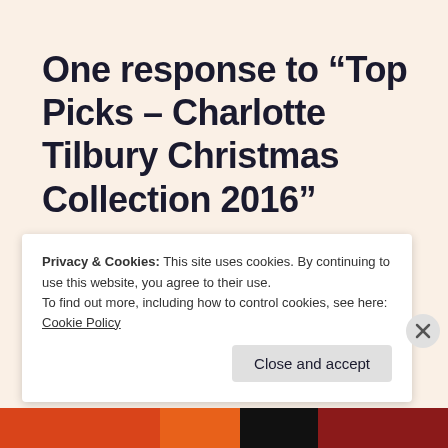One response to “Top Picks – Charlotte Tilbury Christmas Collection 2016”
coatandcoffee
November 23, 2016 at 2:16 am
Privacy & Cookies: This site uses cookies. By continuing to use this website, you agree to their use.
To find out more, including how to control cookies, see here: Cookie Policy
Close and accept